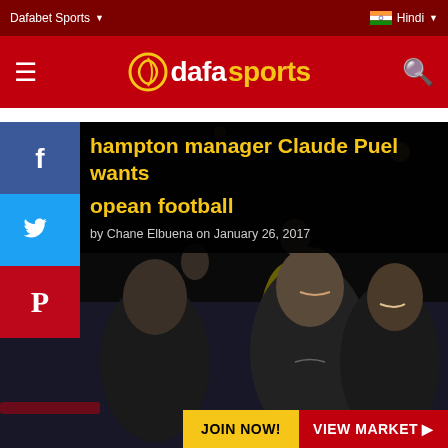Dafabet Sports | Hindi
dafasports
Southampton manager Claude Puel wants European football
by Chane Elbuena on January 26, 2017
[Figure (photo): Southampton manager Claude Puel and staff celebrating on the touchline, fists raised, smiling.]
JOIN NOW! VIEW MARKET ▶